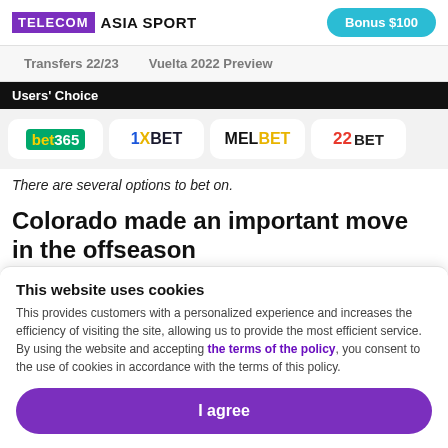TELECOM ASIA SPORT | Bonus $100
Transfers 22/23    Vuelta 2022 Preview
Users' Choice
[Figure (logo): Users' Choice logos: bet365, 1XBET, MELBET, 22BET]
There are several options to bet on.
Colorado made an important move in the offseason
This website uses cookies
This provides customers with a personalized experience and increases the efficiency of visiting the site, allowing us to provide the most efficient service. By using the website and accepting the terms of the policy, you consent to the use of cookies in accordance with the terms of this policy.
I agree